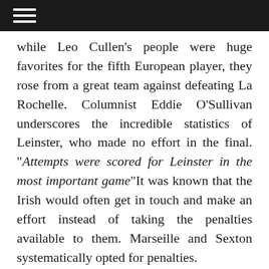while Leo Cullen's people were huge favorites for the fifth European player, they rose from a great team against defeating La Rochelle. Columnist Eddie O'Sullivan underscores the incredible statistics of Leinster, who made no effort in the final. “Attempts were scored for Leinster in the most important game“It was known that the Irish would often get in touch and make an effort instead of taking the penalties available to them. Marseille and Sexton systematically opted for penalties.
Again, physical adversity improved Leinster. As the Irish Times or The 42 recalls, Robbie Henshaw’s teammates came out against a physically strong team, both against Saracens twice in 2019 and 2020 and against La